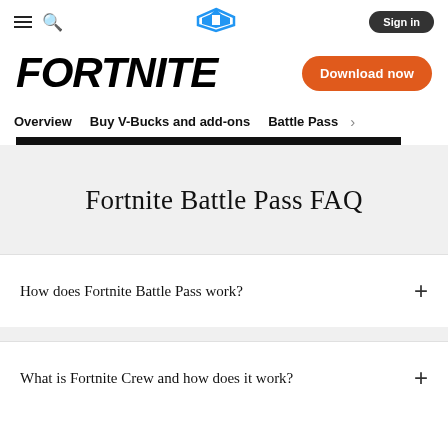≡ 🔍 [Epic Games Logo] Sign in
FORTNITE
Download now
Overview   Buy V-Bucks and add-ons   Battle Pass  >
Fortnite Battle Pass FAQ
How does Fortnite Battle Pass work?
What is Fortnite Crew and how does it work?